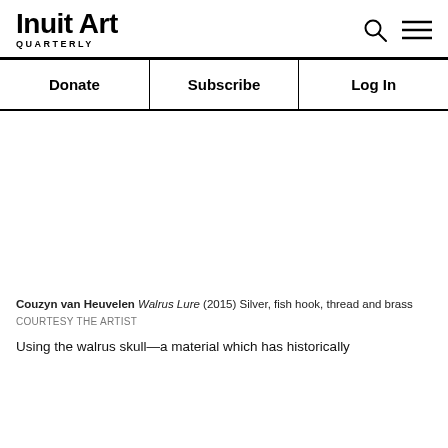Inuit Art Quarterly
Donate
Subscribe
Log In
[Figure (photo): Blank white image area representing artwork photograph]
Couzyn van Heuvelen Walrus Lure (2015) Silver, fish hook, thread and brass
COURTESY THE ARTIST
Using the walrus skull—a material which has historically